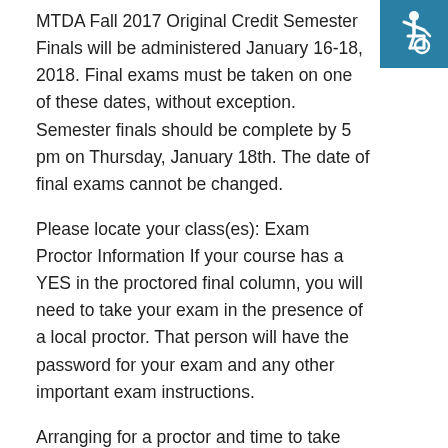[Figure (illustration): Wheelchair accessibility icon — white figure in wheelchair on teal/blue square background, top-right corner]
MTDA Fall 2017 Original Credit Semester Finals will be administered January 16-18, 2018. Final exams must be taken on one of these dates, without exception. Semester finals should be complete by 5 pm on Thursday, January 18th. The date of final exams cannot be changed.
Please locate your class(es): Exam Proctor Information If your course has a YES in the proctored final column, you will need to take your exam in the presence of a local proctor. That person will have the password for your exam and any other important exam instructions.
Arranging for a proctor and time to take your exam is your responsibility. The exam time arranged by you and your proctor must take place on January 16th, 17th, or 18th. Your proctor can be a school administrator, counselor, site facilitator, or other school personnel. It may not be a parent